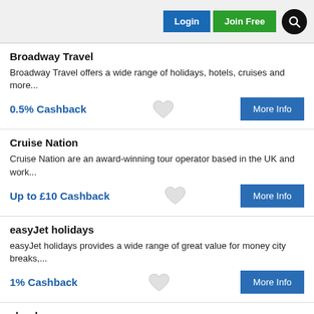Login | Join Free
Broadway Travel
Broadway Travel offers a wide range of holidays, hotels, cruises and more...
0.5% Cashback
Cruise Nation
Cruise Nation are an award-winning tour operator based in the UK and work...
Up to £10 Cashback
easyJet holidays
easyJet holidays provides a wide range of great value for money city breaks,...
1% Cashback
ebookers